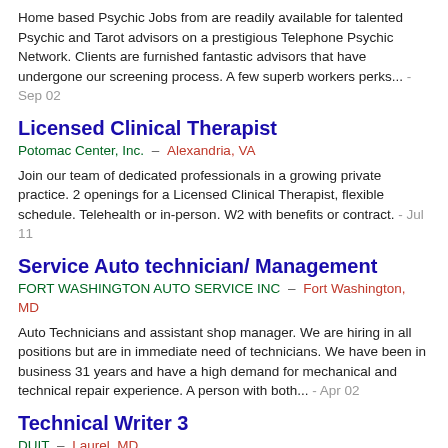Home based Psychic Jobs from are readily available for talented Psychic and Tarot advisors on a prestigious Telephone Psychic Network. Clients are furnished fantastic advisors that have undergone our screening process. A few superb workers perks... - Sep 02
Licensed Clinical Therapist
Potomac Center, Inc.  –  Alexandria, VA
Join our team of dedicated professionals in a growing private practice. 2 openings for a Licensed Clinical Therapist, flexible schedule. Telehealth or in-person. W2 with benefits or contract. - Jul 11
Service Auto technician/ Management
FORT WASHINGTON AUTO SERVICE INC  –  Fort Washington, MD
Auto Technicians and assistant shop manager. We are hiring in all positions but are in immediate need of technicians. We have been in business 31 years and have a high demand for mechanical and technical repair experience. A person with both... - Apr 02
Technical Writer 3
DUIT  –  Laurel, MD
Come join us! Our work environment is limitless, you matter to us, your